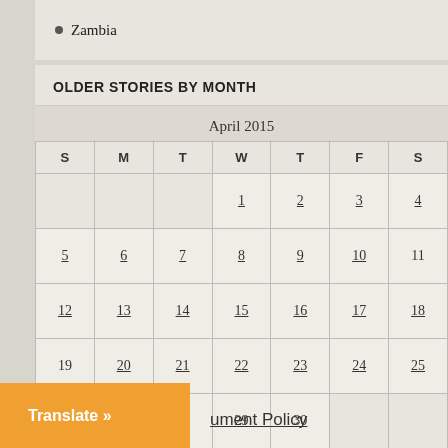Zambia
OLDER STORIES BY MONTH
| S | M | T | W | T | F | S |
| --- | --- | --- | --- | --- | --- | --- |
|  |  |  | 1 | 2 | 3 | 4 |
| 5 | 6 | 7 | 8 | 9 | 10 | 11 |
| 12 | 13 | 14 | 15 | 16 | 17 | 18 |
| 19 | 20 | 21 | 22 | 23 | 24 | 25 |
| 26 | 27 | 28 | 29 | 30 |  |  |
« Mar   May »
Translate »
ument Policy